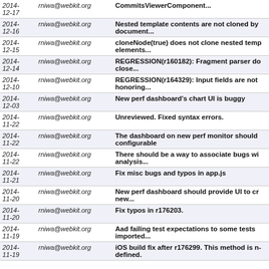| Date | Author | Description |
| --- | --- | --- |
| 2014-12-17 | rniwa@webkit.org | CommitsViewerComponent... |
| 2014-12-16 | rniwa@webkit.org | Nested template contents are not cloned by document... |
| 2014-12-15 | rniwa@webkit.org | cloneNode(true) does not clone nested temp elements... |
| 2014-12-14 | rniwa@webkit.org | REGRESSION(r160182): Fragment parser do close... |
| 2014-12-10 | rniwa@webkit.org | REGRESSION(r164329): Input fields are not honoring... |
| 2014-12-03 | rniwa@webkit.org | New perf dashboard's chart UI is buggy |
| 2014-11-22 | rniwa@webkit.org | Unreviewed. Fixed syntax errors. |
| 2014-11-22 | rniwa@webkit.org | The dashboard on new perf monitor should configurable |
| 2014-11-22 | rniwa@webkit.org | There should be a way to associate bugs wi analysis... |
| 2014-11-21 | rniwa@webkit.org | Fix misc bugs and typos in app.js |
| 2014-11-20 | rniwa@webkit.org | New perf dashboard should provide UI to cr new... |
| 2014-11-20 | rniwa@webkit.org | Fix typos in r176203. |
| 2014-11-19 | rniwa@webkit.org | Aad failing test expectations to some tests imported... |
| 2014-11-19 | rniwa@webkit.org | iOS build fix after r176299. This method is n- defined. |